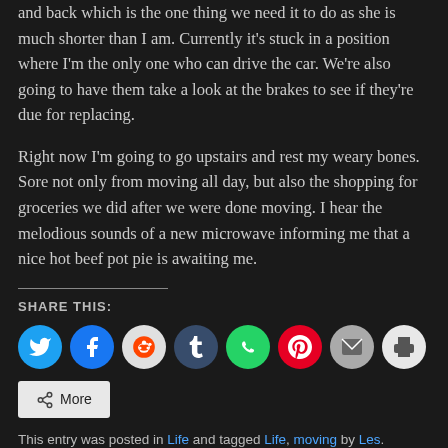and back which is the one thing we need it to do as she is much shorter than I am. Currently it's stuck in a position where I'm the only one who can drive the car. We're also going to have them take a look at the brakes to see if they're due for replacing.
Right now I'm going to go upstairs and rest my weary bones. Sore not only from moving all day, but also the shopping for groceries we did after we were done moving. I hear the melodious sounds of a new microwave informing me that a nice hot beef pot pie is awaiting me.
SHARE THIS:
[Figure (infographic): Social share buttons: Twitter (blue circle), Facebook (blue circle), Reddit (light circle), Tumblr (dark blue circle), WhatsApp (green circle), Pinterest (red circle), Email (grey circle), Print (light grey circle), and a More button]
This entry was posted in Life and tagged Life, moving by Les. Bookmark the permalink.
About Les
I'm the guy that runs this place. You can